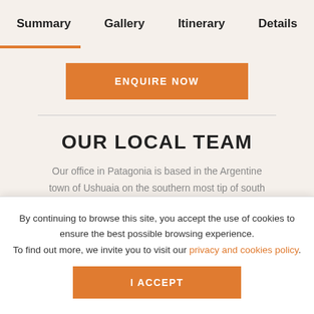Summary   Gallery   Itinerary   Details
ENQUIRE NOW
OUR LOCAL TEAM
Our office in Patagonia is based in the Argentine town of Ushuaia on the southern most tip of south America. Our local team of guides operate trekking trips in the national parks of Tierra del Fuego, Tierra del Fuego. If you want to see them they can help you and demo...
By continuing to browse this site, you accept the use of cookies to ensure the best possible browsing experience. To find out more, we invite you to visit our privacy and cookies policy.
I ACCEPT